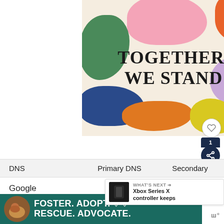[Figure (illustration): Advertisement banner with colorful blobs (pink, orange, green, purple, blue, yellow) on cream background with bold text 'TOGETHER, WE STAND' in serif font. Has close X button in top right corner.]
| DNS | Primary DNS | Secondary |
| --- | --- | --- |
| Google | 8.8.8.8 | 8.8.4.4 |
[Figure (screenshot): What's Next overlay showing Xbox Series X controller image with text 'WHAT'S NEXT → Xbox Series X controller keeps']
[Figure (illustration): Bottom advertisement banner with teal background showing a dog image and text 'FOSTER. ADOPT. ♡ ♡ RESCUE. ADVOCATE.' with close button]